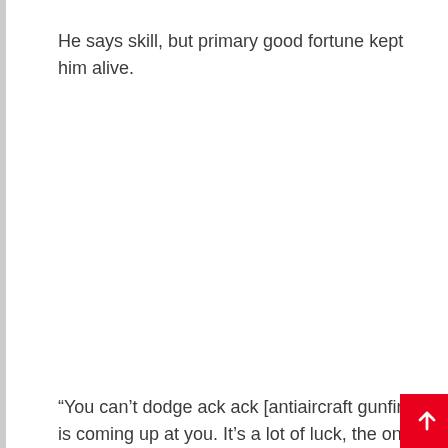He says skill, but primary good fortune kept him alive.
“You can’t dodge ack ack [antiaircraft gunfire] tha is coming up at you. It’s a lot of luck, the one tha